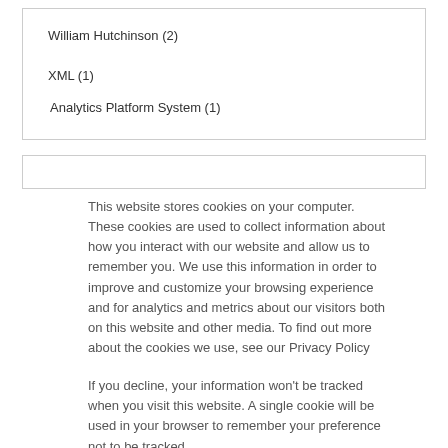William Hutchinson (2)
XML (1)
Analytics Platform System (1)
This website stores cookies on your computer. These cookies are used to collect information about how you interact with our website and allow us to remember you. We use this information in order to improve and customize your browsing experience and for analytics and metrics about our visitors both on this website and other media. To find out more about the cookies we use, see our Privacy Policy
If you decline, your information won’t be tracked when you visit this website. A single cookie will be used in your browser to remember your preference not to be tracked.